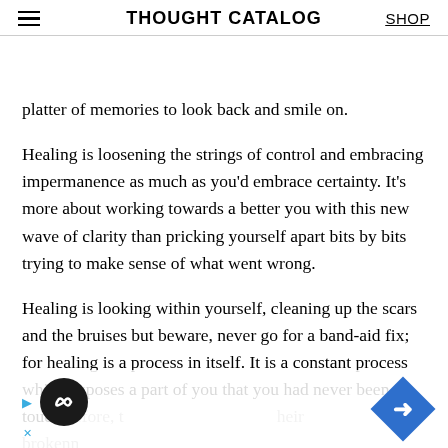THOUGHT CATALOG | SHOP
platter of memories to look back and smile on.
Healing is loosening the strings of control and embracing impermanence as much as you'd embrace certainty. It's more about working towards a better you with this new wave of clarity than pricking yourself apart bits by bits trying to make sense of what went wrong.
Healing is looking within yourself, cleaning up the scars and the bruises but beware, never go for a band-aid fix; for healing is a process in itself. It is a constant process which exposes a part of you that you had never been in touch before, t[heir] brokenn[ess]
[Figure (other): Advertisement overlay with circular dark logo with infinity symbol, play/close buttons on left, and blue diamond-shaped navigation arrow on right]